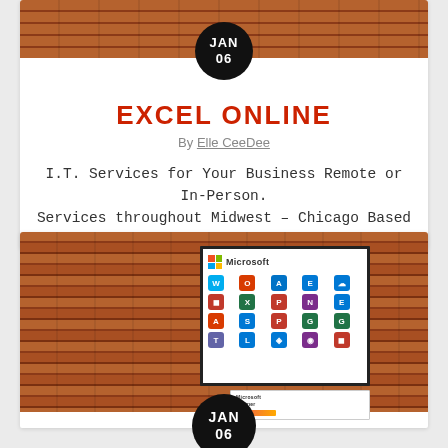[Figure (photo): Brick wall background at top of first card with black circular date badge showing JAN 06]
EXCEL ONLINE
By Elle CeeDee
I.T. Services for Your Business Remote or In-Person. Services throughout Midwest – Chicago Based
[Figure (photo): Brick wall background with Microsoft product icons poster displayed on the wall and a smaller Microsoft card below it, with black circular date badge showing JAN 06]